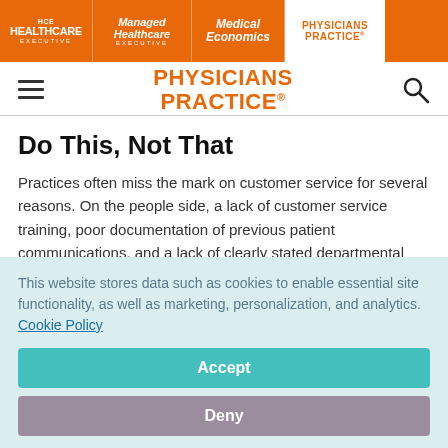HCE HEALTHCARE EXECUTIVE | Managed Healthcare EXECUTIVE | Medical Economics | PHYSICIANS PRACTICE
[Figure (logo): Physicians Practice logo in orange text with hamburger menu and search icon]
Do This, Not That
Practices often miss the mark on customer service for several reasons. On the people side, a lack of customer service training, poor documentation of previous patient communications, and a lack of clearly stated departmental
This website stores data such as cookies to enable essential site functionality, as well as marketing, personalization, and analytics. Cookie Policy
Accept
Deny